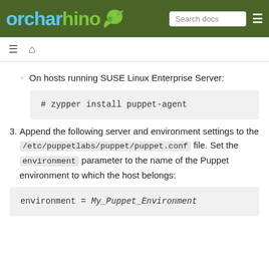orcharhino | Search docs
On hosts running SUSE Linux Enterprise Server:
# zypper install puppet-agent
3. Append the following server and environment settings to the /etc/puppetlabs/puppet/puppet.conf file. Set the environment parameter to the name of the Puppet environment to which the host belongs:
environment = My_Puppet_Environment